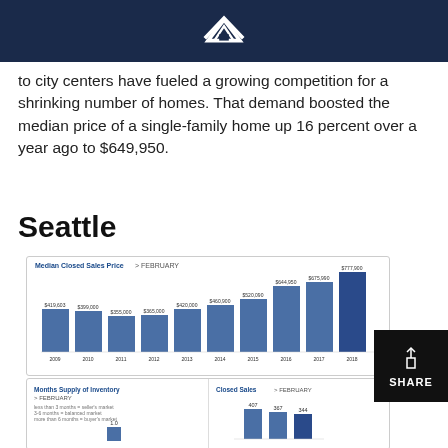[Windermere logo]
to city centers have fueled a growing competition for a shrinking number of homes. That demand boosted the median price of a single-family home up 16 percent over a year ago to $649,950.
Seattle
[Figure (bar-chart): Median Closed Sales Price > FEBRUARY]
[Figure (bar-chart): Months Supply of Inventory > FEBRUARY]
[Figure (bar-chart): Closed Sales > FEBRUARY]